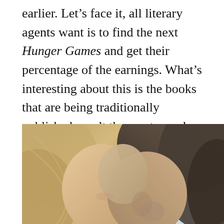earlier. Let's face it, all literary agents want is to find the next Hunger Games and get their percentage of the earnings. What's interesting about this is the books that are being traditionally published aren't the most popular on Amazon. You know what sells on Amazon?
[Figure (photo): Close-up photo of a man and woman pressing their foreheads together intimately, with soft light background. The woman has blonde hair on the left, the man has dark hair on the right.]